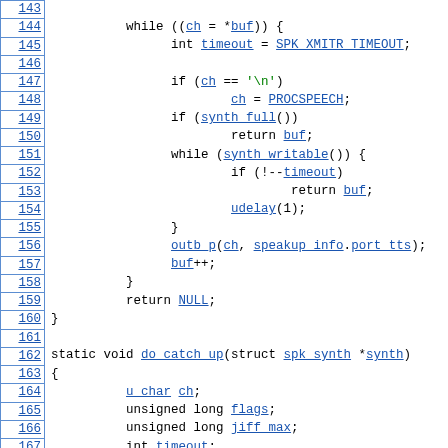[Figure (screenshot): Source code listing with line numbers 143-172, showing C code for a while loop, function return, and start of static void do_catch_up function with variable declarations.]